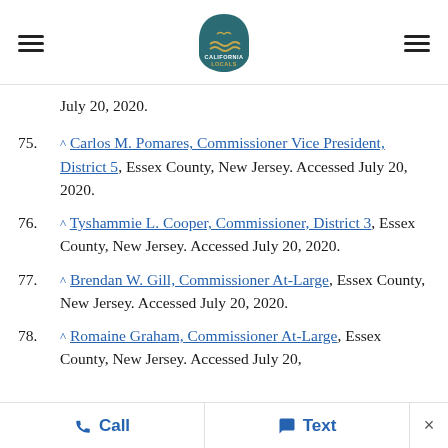California Locals navigation header
July 20, 2020.
75. ^ Carlos M. Pomares, Commissioner Vice President, District 5, Essex County, New Jersey. Accessed July 20, 2020.
76. ^ Tyshammie L. Cooper, Commissioner, District 3, Essex County, New Jersey. Accessed July 20, 2020.
77. ^ Brendan W. Gill, Commissioner At-Large, Essex County, New Jersey. Accessed July 20, 2020.
78. ^ Romaine Graham, Commissioner At-Large, Essex County, New Jersey. Accessed July 20,
Call   Text   ×